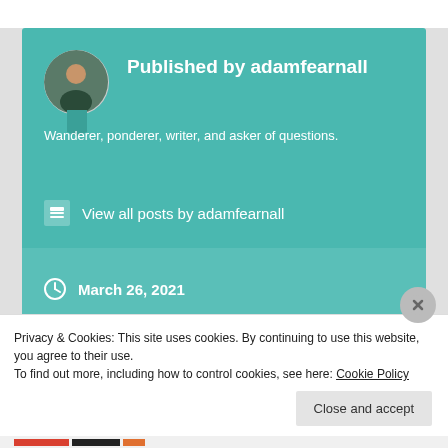[Figure (screenshot): Author card with teal background showing profile photo, name 'Published by adamfearnall', bio text, and view all posts link]
Published by adamfearnall
Wanderer, ponderer, writer, and asker of questions.
View all posts by adamfearnall
March 26, 2021
Blogroll
Privacy & Cookies: This site uses cookies. By continuing to use this website, you agree to their use.
To find out more, including how to control cookies, see here: Cookie Policy
Close and accept